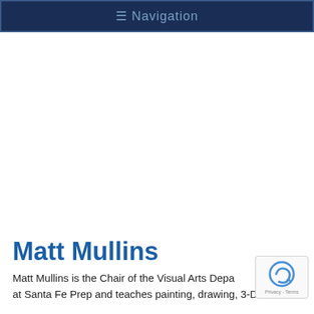☰ Navigation
Matt Mullins
Matt Mullins is the Chair of the Visual Arts Department at Santa Fe Prep and teaches painting, drawing, 3-D